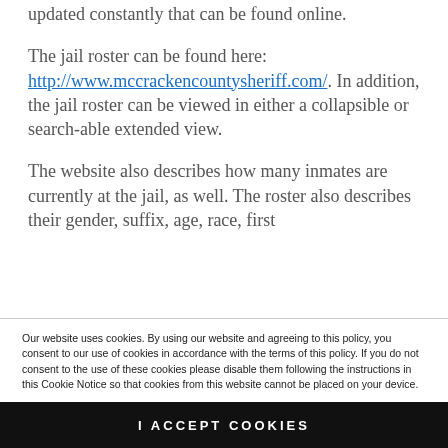updated constantly that can be found online.
The jail roster can be found here: http://www.mccrackencountysheriff.com/. In addition, the jail roster can be viewed in either a collapsible or search-able extended view.
The website also describes how many inmates are currently at the jail, as well. The roster also describes their gender, suffix, age, race, first
Our website uses cookies. By using our website and agreeing to this policy, you consent to our use of cookies in accordance with the terms of this policy. If you do not consent to the use of these cookies please disable them following the instructions in this Cookie Notice so that cookies from this website cannot be placed on your device.
I ACCEPT COOKIES